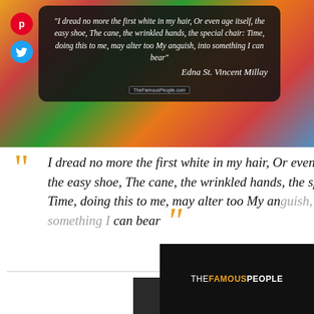[Figure (illustration): Colorful background image with orange, green, red balloons/flowers. Dark semi-transparent rounded box overlaid with italic white quote text: "I dread no more the first white in my hair, Or even age itself, the easy shoe, The cane, the wrinkled hands, the special chair: Time, doing this to me, may alter too My anguish, into something I can bear" attributed to Edna St. Vincent Millay. Pinterest and Twitter social icons on the left. TheFamousPeople.com watermark at bottom.]
I dread no more the first white in my hair, Or even age itself, the easy shoe, The cane, the wrinkled hands, the special chair: Time, doing this to me, may alter too My anguish, into something I can bear
[Figure (screenshot): Black popup overlay in bottom right showing THEFAMOUSPEOPLE logo in white/gold text. Close button (X in circle) at top right. Me button in dark gray at bottom center.]